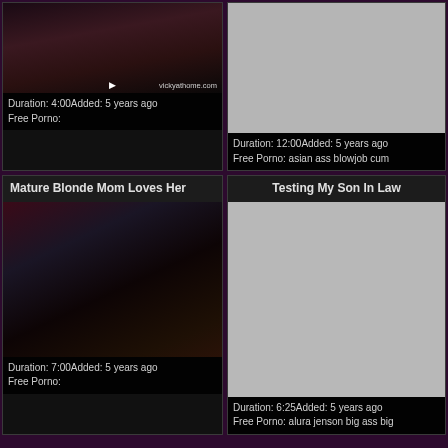[Figure (photo): Partial video thumbnail top-left card, dark adult content image cropped]
Duration: 4:00Added: 5 years ago
Free Porno:
[Figure (photo): Gray placeholder thumbnail top-right card]
Duration: 12:00Added: 5 years ago
Free Porno: asian ass blowjob cum
Mature Blonde Mom Loves Her
Testing My Son In Law
[Figure (photo): Blurred/dark adult video thumbnail for Mature Blonde Mom card]
Duration: 7:00Added: 5 years ago
Free Porno:
[Figure (photo): Gray placeholder thumbnail for Testing My Son In Law card]
Duration: 6:25Added: 5 years ago
Free Porno: alura jenson big ass big